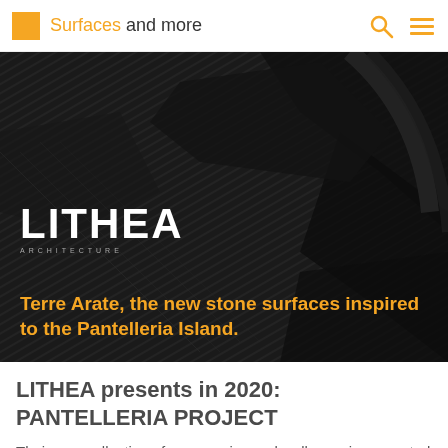Surfaces and more
[Figure (photo): Dark textured stone surface with geometric shapes and ridged patterns, hero banner image for LITHEA Pantelleria Project]
LITHEA
Terre Arate, the new stone surfaces inspired to the Pantelleria Island.
LITHEA presents in 2020: PANTELLERIA PROJECT
Their new collection of accessories and wall coverings created with precious stones and natural